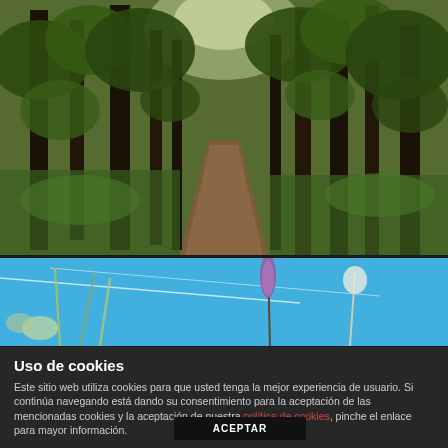[Figure (photo): Forest path with tall trees and green undergrowth, trail leading into the woods]
[Figure (photo): Sky photo with blue sky, wildflowers including purple flower, and contrails visible]
Uso de cookies
Este sitio web utiliza cookies para que usted tenga la mejor experiencia de usuario. Si continúa navegando está dando su consentimiento para la aceptación de las mencionadas cookies y la aceptación de nuestra política de cookies, pinche el enlace para mayor información.
ACEPTAR